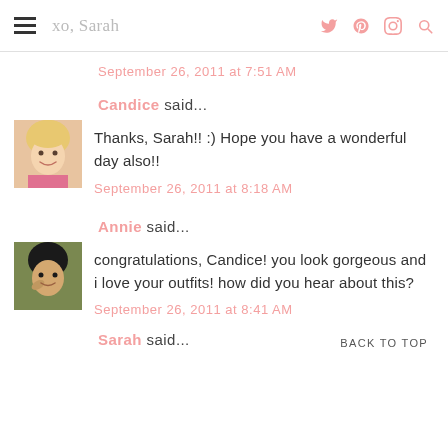xo, Sarah
September 26, 2011 at 7:51 AM
Candice said... Thanks, Sarah!! :) Hope you have a wonderful day also!! September 26, 2011 at 8:18 AM
Annie said... congratulations, Candice! you look gorgeous and i love your outfits! how did you hear about this? September 26, 2011 at 8:41 AM
BACK TO TOP
Sarah said...